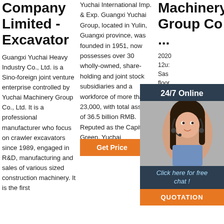Company Limited - Excavator
Guangxi Yuchai Heavy Industry Co., Ltd. is a Sino-foreign joint venture enterprise controlled by Yuchai Machinery Group Co., Ltd. It is a professional manufacturer who focus on crawler excavators since 1989, engaged in R&D, manufacturing and sales of various sized construction machinery. It is the first
Yuchai International Imp. & Exp. Guangxi Yuchai Group, located in Yulin, Guangxi province, was founded in 1951, now possesses over 30 wholly-owned, share-holding and joint stock subsidiaries and a workforce of more than 23,000, with total assets of 36.5 billion RMB. Reputed as the Capital of Green. Yuchai International Imp.
Machinery Group Co ...
2020 12u: Sas floor Jeru 115: IND MOT MAN KOMPLER MANGSA DUA SQUARE BLOK B NO.08 PT. INDO DONGFENG MOTOR Add:JL. MANGGA DUA RAYA,
[Figure (photo): 24/7 Online chat widget with a photo of a customer service representative (woman with headset), dark navy background, with 'Click here for free chat!' text and an orange QUOTATION button]
Get Price